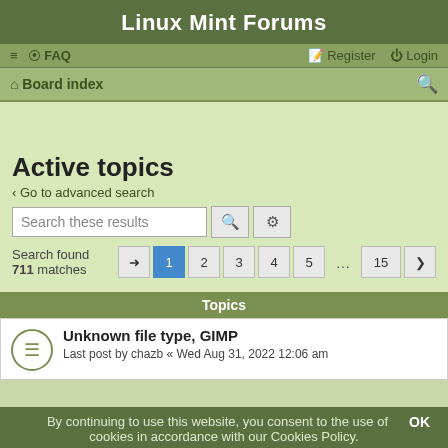Linux Mint Forums
≡  FAQ    Register  Login
Board index
Active topics
< Go to advanced search
Search these results
Search found 711 matches   1 2 3 4 5 ... 15 >
Topics
Unknown file type, GIMP
Last post by chazb « Wed Aug 31, 2022 12:06 am
By continuing to use this website, you consent to the use of cookies in accordance with our Cookies Policy.   OK